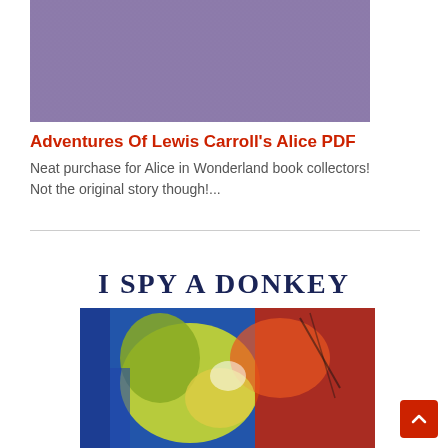[Figure (illustration): Book cover with purple/lavender background showing 'Illustrated by Jenny Thorne' in gold italic serif text at the bottom]
Adventures Of Lewis Carroll's Alice PDF
Neat purchase for Alice in Wonderland book collectors! Not the original story though!...
I SPY A DONKEY
[Figure (illustration): Colorful expressionist painting of donkey figures in vibrant yellow, red, blue, and green brushstrokes]